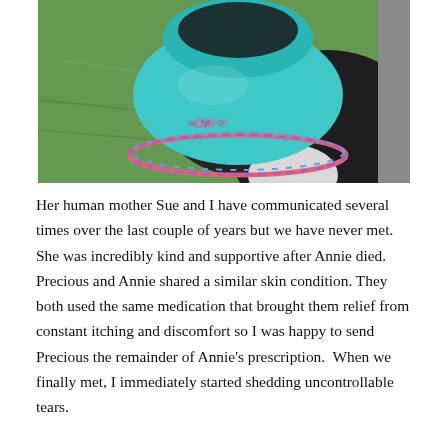[Figure (photo): A dog wearing a turquoise/teal winter hat with colorful striped trim and embroidery, photographed outdoors on grass. The dog has dark black/gray fur with a white chest patch.]
Her human mother Sue and I have communicated several times over the last couple of years but we have never met.  She was incredibly kind and supportive after Annie died.  Precious and Annie shared a similar skin condition. They both used the same medication that brought them relief from constant itching and discomfort so I was happy to send Precious the remainder of Annie's prescription.  When we finally met, I immediately started shedding uncontrollable tears.

We sat and talked for quite a while.  She shared a bit of